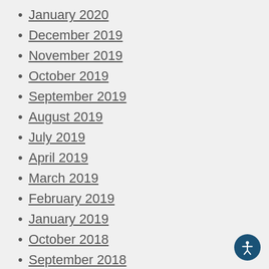January 2020
December 2019
November 2019
October 2019
September 2019
August 2019
July 2019
April 2019
March 2019
February 2019
January 2019
October 2018
September 2018